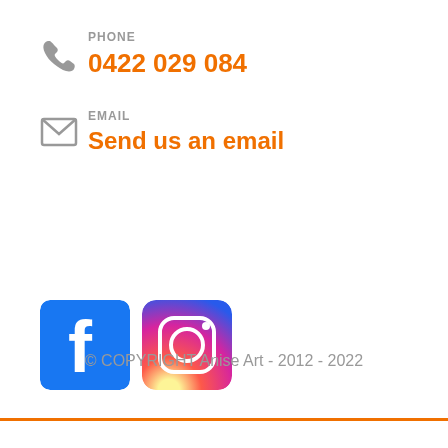PHONE
0422 029 084
EMAIL
Send us an email
[Figure (logo): Facebook and Instagram social media icons side by side]
© COPYRIGHT Anise Art - 2012 - 2022